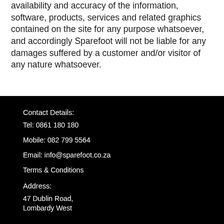availability and accuracy of the information, software, products, services and related graphics contained on the site for any purpose whatsoever, and accordingly Sparefoot will not be liable for any damages suffered by a customer and/or visitor of any nature whatsoever.
Contact Details:
Tel: 0861 180 180
Mobile: 082 799 5564
Email: info@sparefoot.co.za
Terms & Conditions
Address:
47 Dublin Road,
Lombardy West